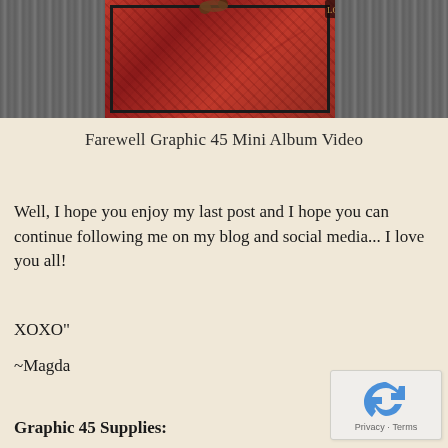[Figure (photo): A decorative red patterned mini album box with dark border, photographed on a wood surface, with black areas on the sides.]
Farewell Graphic 45 Mini Album Video
Well, I hope you enjoy my last post and I hope you can continue following me on my blog and social media... I love you all!
XOXO"
~Magda
Graphic 45 Supplies:
[Figure (logo): reCAPTCHA logo with Privacy and Terms text]